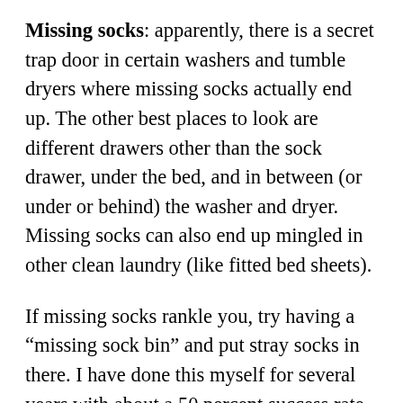Missing socks: apparently, there is a secret trap door in certain washers and tumble dryers where missing socks actually end up. The other best places to look are different drawers other than the sock drawer, under the bed, and in between (or under or behind) the washer and dryer. Missing socks can also end up mingled in other clean laundry (like fitted bed sheets).
If missing socks rankle you, try having a “missing sock bin” and put stray socks in there. I have done this myself for several years with about a 50 percent success rate, but it does build up over time and you have to